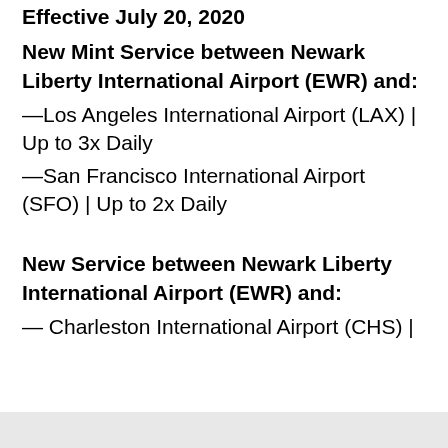Effective July 20, 2020
New Mint Service between Newark Liberty International Airport (EWR) and:
—Los Angeles International Airport (LAX) | Up to 3x Daily
—San Francisco International Airport (SFO) | Up to 2x Daily
New Service between Newark Liberty International Airport (EWR) and:
— Charleston International Airport (CHS) |